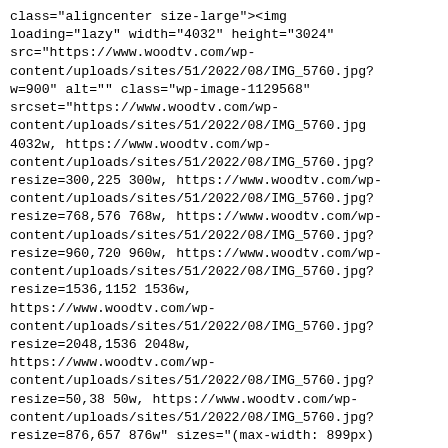class="aligncenter size-large"><img loading="lazy" width="4032" height="3024" src="https://www.woodtv.com/wp-content/uploads/sites/51/2022/08/IMG_5760.jpg?w=900" alt="" class="wp-image-1129568" srcset="https://www.woodtv.com/wp-content/uploads/sites/51/2022/08/IMG_5760.jpg 4032w, https://www.woodtv.com/wp-content/uploads/sites/51/2022/08/IMG_5760.jpg?resize=300,225 300w, https://www.woodtv.com/wp-content/uploads/sites/51/2022/08/IMG_5760.jpg?resize=768,576 768w, https://www.woodtv.com/wp-content/uploads/sites/51/2022/08/IMG_5760.jpg?resize=960,720 960w, https://www.woodtv.com/wp-content/uploads/sites/51/2022/08/IMG_5760.jpg?resize=1536,1152 1536w, https://www.woodtv.com/wp-content/uploads/sites/51/2022/08/IMG_5760.jpg?resize=2048,1536 2048w, https://www.woodtv.com/wp-content/uploads/sites/51/2022/08/IMG_5760.jpg?resize=50,38 50w, https://www.woodtv.com/wp-content/uploads/sites/51/2022/08/IMG_5760.jpg?resize=876,657 876w" sizes="(max-width: 899px) 100vw, 876px" /><figcaption>One more pic. of the clouds to the east Wed. evening</figcaption></figure></div> <p>Here's one more pic. of the clouds to the east Wed. evening. We watched a sailboat go back and forth across the bay, some kids tubing and laughing hysterically and we